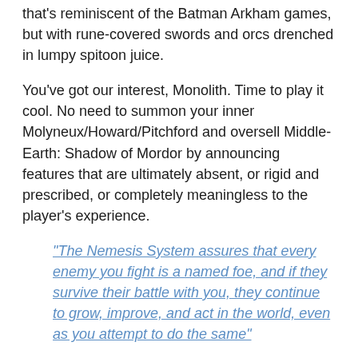that's reminiscent of the Batman Arkham games, but with rune-covered swords and orcs drenched in lumpy spitoon juice.
You've got our interest, Monolith. Time to play it cool. No need to summon your inner Molyneux/Howard/Pitchford and oversell Middle-Earth: Shadow of Mordor by announcing features that are ultimately absent, or rigid and prescribed, or completely meaningless to the player's experience.
"The Nemesis System assures that every enemy you fight is a named foe, and if they survive their battle with you, they continue to grow, improve, and act in the world, even as you attempt to do the same"
Oh. You're going to go with that, then? Okay. Let's take a few moments to walk through this Nemesis System.
You kill a million orcs. One happens to get away during a fight. When has this ever happened in any action game? Let's just say one gets away, and its escape doesn't involve sudden invincibility or an awkwardly scripted sequence. Now that orc goes home to his orc wife. He pays his orc bills. He writes the great orc novel. He has an existential crisis when an ogre kisses him, bringing long-suppressed